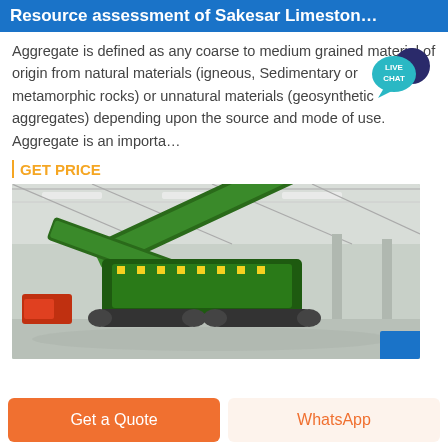Resource assessment of Sakesar Limeston...
Aggregate is defined as any coarse to medium grained material of origin from natural materials (igneous, Sedimentary or metamorphic rocks) or unnatural materials (geosynthetic aggregates) depending upon the source and mode of use. Aggregate is an importa…
GET PRICE
[Figure (photo): Industrial machinery (green mobile crusher/screener) inside a large warehouse/factory with steel roof structure and polished floor.]
Get a Quote
WhatsApp